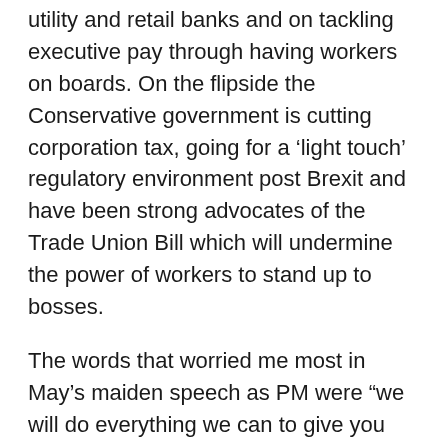utility and retail banks and on tackling executive pay through having workers on boards. On the flipside the Conservative government is cutting corporation tax, going for a ‘light touch’ regulatory environment post Brexit and have been strong advocates of the Trade Union Bill which will undermine the power of workers to stand up to bosses.
The words that worried me most in May’s maiden speech as PM were “we will do everything we can to give you more control over your lives.” That’s usually code for privatized services. Privatisation does not lead to more equality. In fact, it is equivalent to selling off collective wealth and putting it in the hands of ‘the privileged few.’
May has also signalled that her policies to alleviate